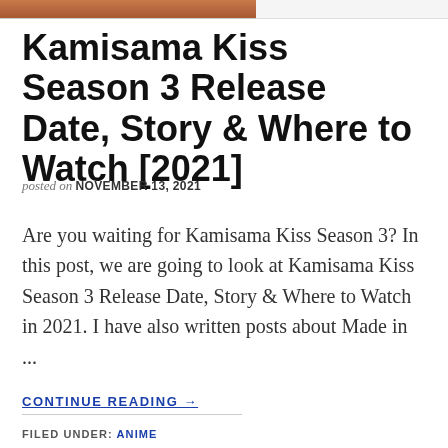[Figure (photo): Partial image strip at the top of the page showing an anime illustration]
Kamisama Kiss Season 3 Release Date, Story & Where to Watch [2021]
posted on NOVEMBER 13, 2021
Are you waiting for Kamisama Kiss Season 3? In this post, we are going to look at Kamisama Kiss Season 3 Release Date, Story & Where to Watch in 2021. I have also written posts about Made in ...
CONTINUE READING →
FILED UNDER: ANIME